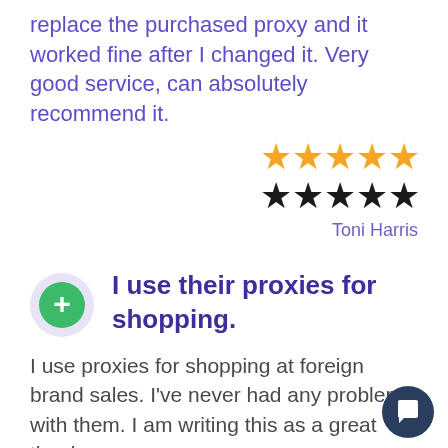replace the purchased proxy and it worked fine after I changed it. Very good service, can absolutely recommend it.
[Figure (other): Two rows of 5 stars each: top row in gold/orange color, bottom row in black color, representing a rating display]
Toni Harris
I use their proxies for shopping.
I use proxies for shopping at foreign brand sales. I've never had any problems with them. I am writing this as a great thank you to the whole team. The...